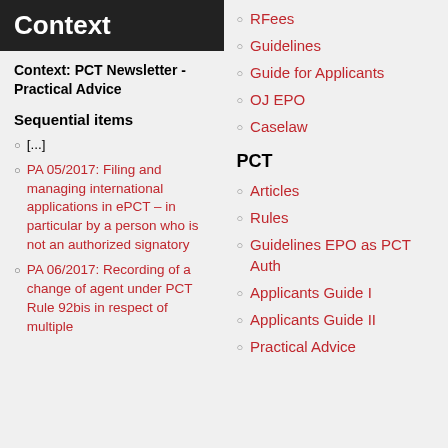Context
Context: PCT Newsletter - Practical Advice
Sequential items
[...]
PA 05/2017: Filing and managing international applications in ePCT – in particular by a person who is not an authorized signatory
PA 06/2017: Recording of a change of agent under PCT Rule 92bis in respect of multiple
RFees
Guidelines
Guide for Applicants
OJ EPO
Caselaw
PCT
Articles
Rules
Guidelines EPO as PCT Auth
Applicants Guide I
Applicants Guide II
Practical Advice